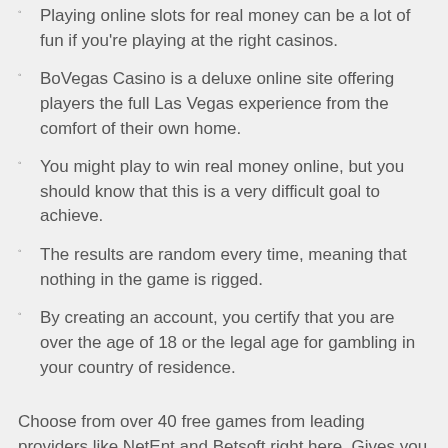Playing online slots for real money can be a lot of fun if you're playing at the right casinos.
BoVegas Casino is a deluxe online site offering players the full Las Vegas experience from the comfort of their own home.
You might play to win real money online, but you should know that this is a very difficult goal to achieve.
The results are random every time, meaning that nothing in the game is rigged.
By creating an account, you certify that you are over the age of 18 or the legal age for gambling in your country of residence.
Choose from over 40 free games from leading providers like NetEnt and Betsoft right here. Gives you many paylines to work with across multiple sets of reels. Receive a 200% match deposit bonus on your first 10 deposits with Cherry Jackpot and get up to $20,000 in